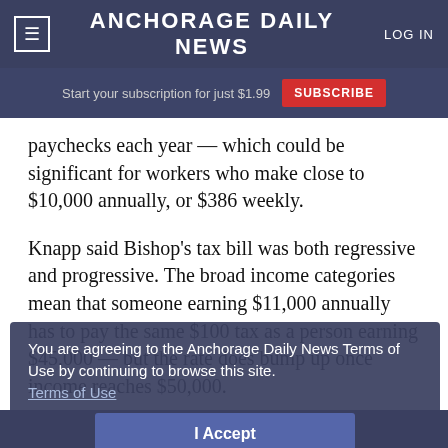≡ ANCHORAGE DAILY NEWS  LOG IN
Start your subscription for just $1.99  SUBSCRIBE
paychecks each year — which could be significant for workers who make close to $10,000 annually, or $386 weekly.
Knapp said Bishop's tax bill was both regressive and progressive. The broad income categories mean that someone earning $11,000 annually has to pay the same $100 tax as a person earning $45,000 — but the rate does bump up once income reaches $50,000.
You are agreeing to the Anchorage Daily News Terms of Use by continuing to browse this site. Terms of Use
I Accept